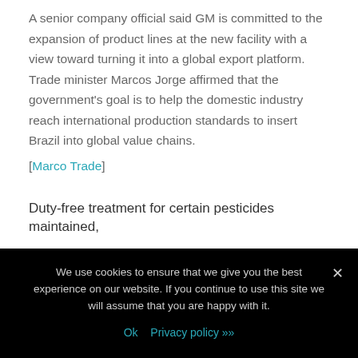A senior company official said GM is committed to the expansion of product lines at the new facility with a view toward turning it into a global export platform. Trade minister Marcos Jorge affirmed that the government's goal is to help the domestic industry reach international production standards to insert Brazil into global value chains.
[Marco Trade]
Duty-free treatment for certain pesticides maintained,
We use cookies to ensure that we give you the best experience on our website. If you continue to use this site we will assume that you are happy with it.